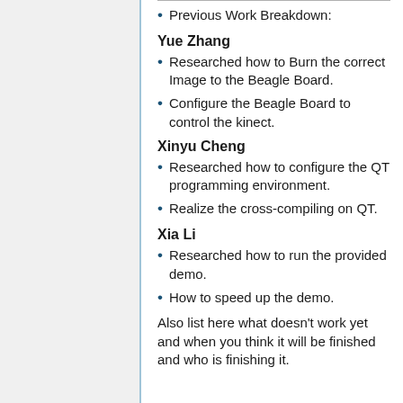Previous Work Breakdown:
Yue Zhang
Researched how to Burn the correct Image to the Beagle Board.
Configure the Beagle Board to control the kinect.
Xinyu Cheng
Researched how to configure the QT programming environment.
Realize the cross-compiling on QT.
Xia Li
Researched how to run the provided demo.
How to speed up the demo.
Also list here what doesn't work yet and when you think it will be finished and who is finishing it.